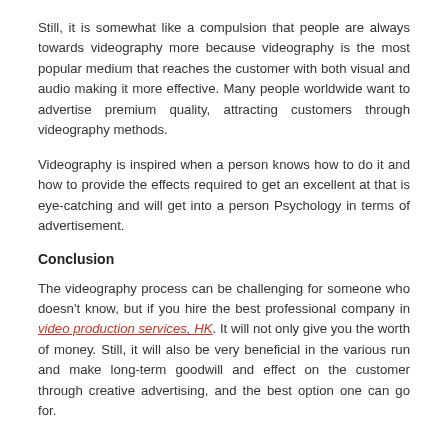Still, it is somewhat like a compulsion that people are always towards videography more because videography is the most popular medium that reaches the customer with both visual and audio making it more effective. Many people worldwide want to advertise premium quality, attracting customers through videography methods.
Videography is inspired when a person knows how to do it and how to provide the effects required to get an excellent at that is eye-catching and will get into a person Psychology in terms of advertisement.
Conclusion
The videography process can be challenging for someone who doesn't know, but if you hire the best professional company in video production services, HK. It will not only give you the worth of money. Still, it will also be very beneficial in the various run and make long-term goodwill and effect on the customer through creative advertising, and the best option one can go for.